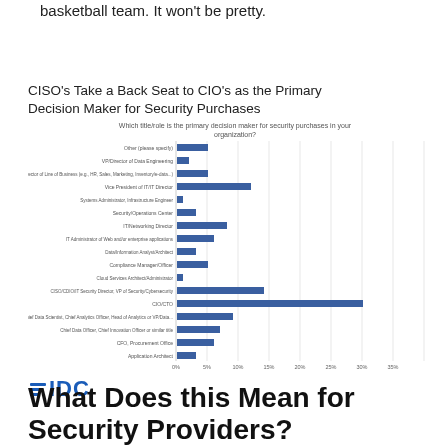the head trainer setting starting lineups for a basketball team. It won't be pretty.
[Figure (bar-chart): CISO's Take a Back Seat to CIO's as the Primary Decision Maker for Security Purchases]
What Does this Mean for Security Providers?